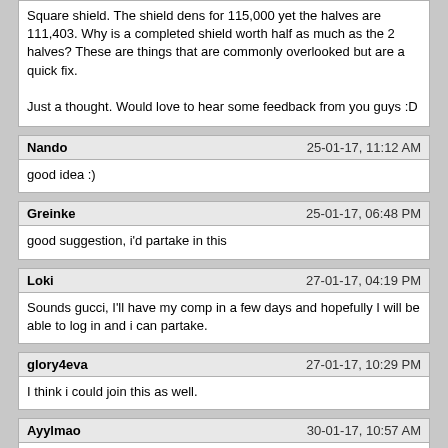Square shield. The shield dens for 115,000 yet the halves are 111,403. Why is a completed shield worth half as much as the 2 halves? These are things that are commonly overlooked but are a quick fix.

Just a thought. Would love to hear some feedback from you guys :D
Nando	25-01-17, 11:12 AM
good idea :)
Greinke	25-01-17, 06:48 PM
good suggestion, i'd partake in this
Loki	27-01-17, 04:19 PM
Sounds gucci, I'll have my comp in a few days and hopefully I will be able to log in and i can partake.
glory4eva	27-01-17, 10:29 PM
I think i could join this as well.
Ayylmao	30-01-17, 10:57 AM
I'll jump on the bandwagon. I'm in for this boy.
Powered by vBulletin® Version 4.2.5 Copyright © 2022 vBulletin Solutions Inc. All rights reserved.